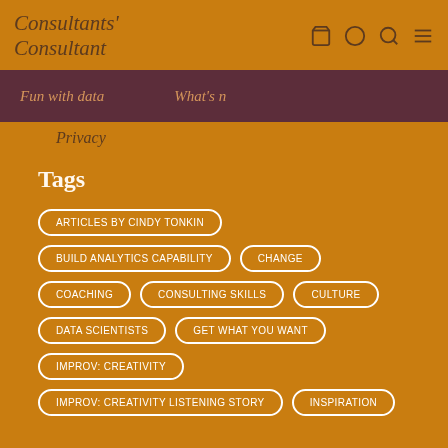Consultants' Consultant
Fun with data   What's n
Privacy
Tags
ARTICLES BY CINDY TONKIN
BUILD ANALYTICS CAPABILITY
CHANGE
COACHING
CONSULTING SKILLS
CULTURE
DATA SCIENTISTS
GET WHAT YOU WANT
IMPROV: CREATIVITY
IMPROV: CREATIVITY LISTENING STORY
INSPIRATION